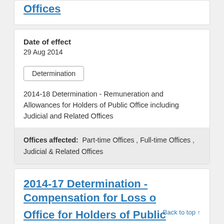Offices
Date of effect
29 Aug 2014
Determination
2014-18 Determination - Remuneration and Allowances for Holders of Public Office including Judicial and Related Offices
Offices affected:  Part-time Offices , Full-time Offices , Judicial & Related Offices
2014-17 Determination - Compensation for Loss of Office for Holders of Public